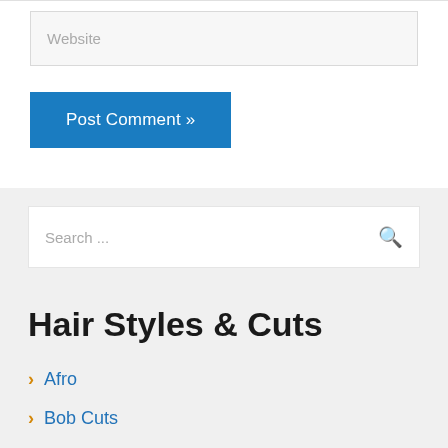Website
Post Comment »
Search ...
Hair Styles & Cuts
Afro
Bob Cuts